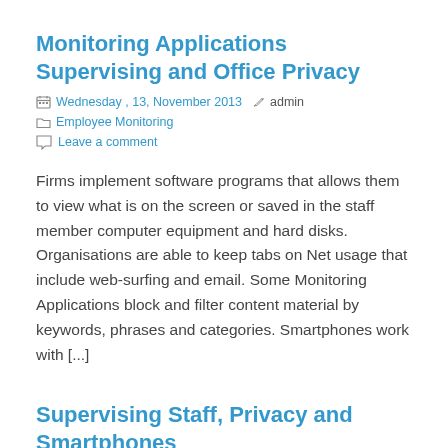Monitoring Applications Supervising and Office Privacy
Wednesday , 13, November 2013  admin  Employee Monitoring  Leave a comment
Firms implement software programs that allows them to view what is on the screen or saved in the staff member computer equipment and hard disks. Organisations are able to keep tabs on Net usage that include web-surfing and email. Some Monitoring Applications block and filter content material by keywords, phrases and categories. Smartphones work with [...]
Supervising Staff, Privacy and Smartphones
Thursday , 24, October 2013  admin  Employee Monitoring  Leave a comment